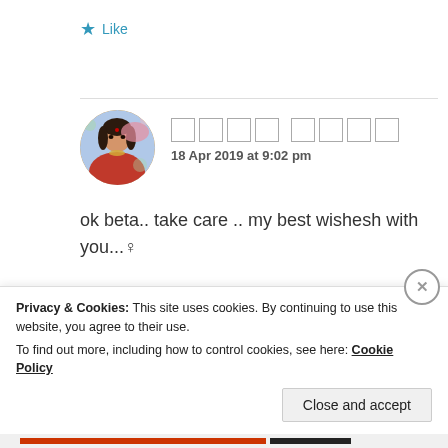★ Like
[Figure (photo): Round avatar of a woman in traditional Indian attire with jewelry and floral background]
□□□□ □□□□
18 Apr 2019 at 9:02 pm
ok beta.. take care .. my best wishesh with you...♀
★ Like
Privacy & Cookies: This site uses cookies. By continuing to use this website, you agree to their use.
To find out more, including how to control cookies, see here: Cookie Policy
Close and accept